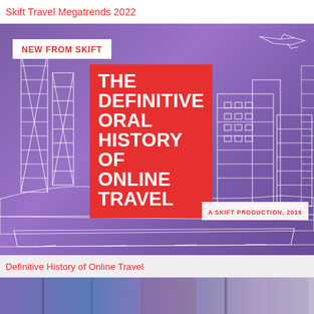Skift Travel Megatrends 2022
[Figure (illustration): Promotional image for 'The Definitive Oral History of Online Travel' — a Skift production 2016. Purple background with white line-art city/architecture illustration. Red badge reading 'NEW FROM SKIFT' in upper left. Large red block with white text reading 'THE DEFINITIVE ORAL HISTORY OF ONLINE TRAVEL'. White label reading 'A SKIFT PRODUCTION, 2016'.]
Definitive History of Online Travel
[Figure (photo): Partial bottom strip showing the top portion of another image with blueish-purple tones]